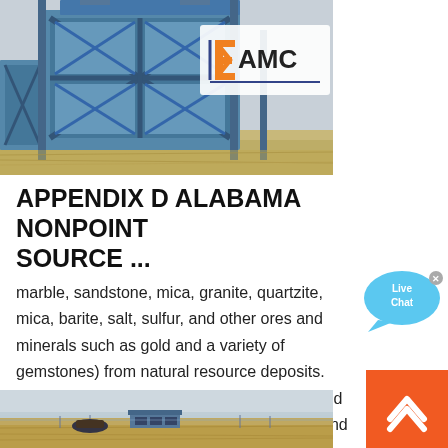[Figure (photo): Blue industrial mining/crushing equipment with EAMC logo visible in orange and blue, against a tan background]
APPENDIX D ALABAMA NONPOINT SOURCE ...
marble, sandstone, mica, granite, quartzite, mica, barite, salt, sulfur, and other ores and minerals such as gold and a variety of gemstones) from natural resource deposits. Most non-fuel ores and minerals are extracted from surface mines and quarries. Underground mining is largely confined to the recovery of coal from seams that cannot be
[Figure (photo): Aerial view of a flat agricultural or industrial field with a small facility/building visible, landscape extending to horizon under hazy sky]